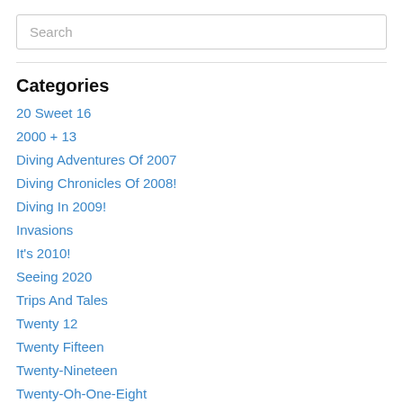Search
Categories
20 Sweet 16
2000 + 13
Diving Adventures Of 2007
Diving Chronicles Of 2008!
Diving In 2009!
Invasions
It's 2010!
Seeing 2020
Trips And Tales
Twenty 12
Twenty Fifteen
Twenty-Nineteen
Twenty-Oh-One-Eight
Two-Oh-One-Four